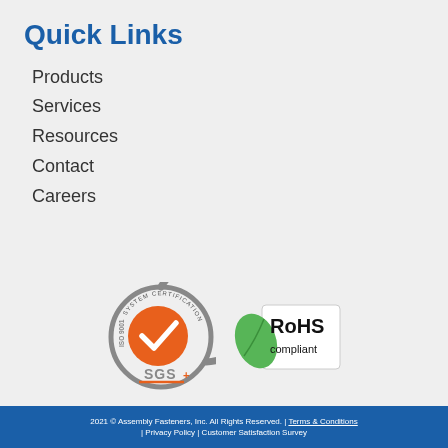Quick Links
Products
Services
Resources
Contact
Careers
[Figure (logo): SGS ISO 9001 System Certification badge with orange checkmark circle and SGS text]
[Figure (logo): RoHS compliant badge with green leaf and bold RoHS compliant text]
2021 © Assembly Fasteners, Inc. All Rights Reserved. | Terms & Conditions | Privacy Policy | Customer Satisfaction Survey